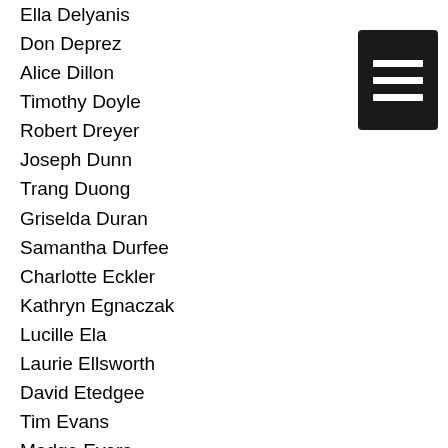Ella Delyanis
Don Deprez
Alice Dillon
Timothy Doyle
Robert Dreyer
Joseph Dunn
Trang Duong
Griselda Duran
Samantha Durfee
Charlotte Eckler
Kathryn Egnaczak
Lucille Ela
Laurie Ellsworth
David Etedgee
Tim Evans
Madge Evers
Ralph Ferro
Susan Fisher
Nathan Fiske
Elizabeth Fortin
Sharon Freed
[Figure (other): Menu icon with three horizontal white lines on black background]